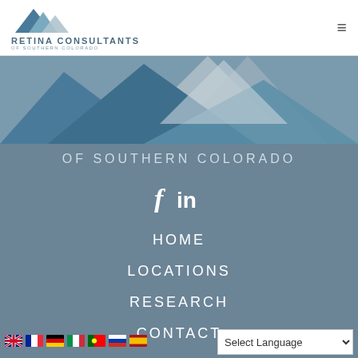RETINA CONSULTANTS OF SOUTHERN COLORADO
[Figure (illustration): Mountain silhouette hero graphic with blue and grey peaks against a grey-blue sky]
RETINA CONSULTANTS OF SOUTHERN COLORADO
[Figure (logo): Facebook and LinkedIn social media icons (f and in) in white]
HOME
LOCATIONS
RESEARCH
CONTACT
Select Language